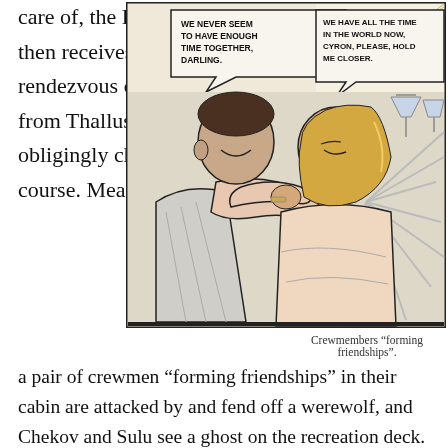care of, the Enterprise then receives new rendezvous coordinates from Thallus and obligingly changes course. Meanwhile,
[Figure (illustration): Comic book panel showing two characters in a romantic embrace. Speech bubbles read: 'WE NEVER SEEM TO HAVE ENOUGH TIME TOGETHER, DARLING.' and 'WE HAVE ALL THE TIME IN THE WORLD NOW, CYRON, PLEASE, HOLD ME CLOSER.']
Crewmembers “forming friendships”.
a pair of crewmen “forming friendships” in their cabin are attacked by and fend off a werewolf, and Chekov and Sulu see a ghost on the recreation deck.